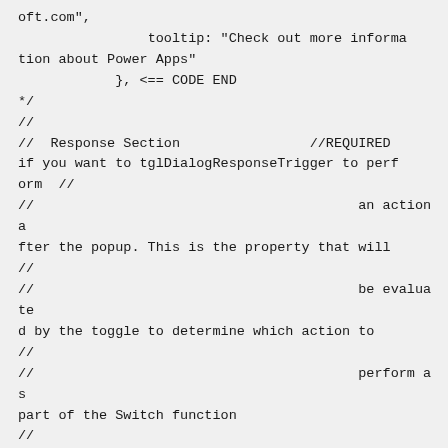oft.com",
                tooltip: "Check out more information about Power Apps"
            }, <== CODE END
*/
//
//  Response Section                    //REQUIRED if you want to tglDialogResponseTrigger to perform  //
//                                        an action after the popup. This is the property that will
//
//                                        be evaluated by the toggle to determine which action to
//
//                                        perform as part of the Switch function
//
//
//
//          responseAction: "ResonseActionName"
//